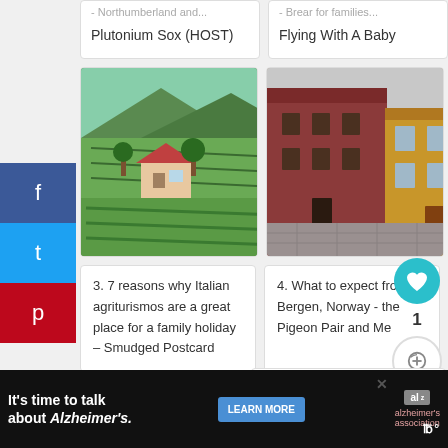Plutonium Sox (HOST)
Flying With A Baby
[Figure (photo): Aerial view of Italian countryside with vineyard and farmhouse among green hills]
3. 7 reasons why Italian agriturismos are a great place for a family holiday – Smudged Postcard
[Figure (photo): Colourful wooden buildings in Bergen, Norway, with cobblestone courtyard]
4. What to expect from Bergen, Norway - the Pigeon Pair and Me
[Figure (photo): Family standing on a waterfront with harbour town in background]
[Figure (photo): Giraffe standing in zoo enclosure]
WHAT'S NEXT → Family Travel Tips #10
It's time to talk about Alzheimer's.
LEARN MORE